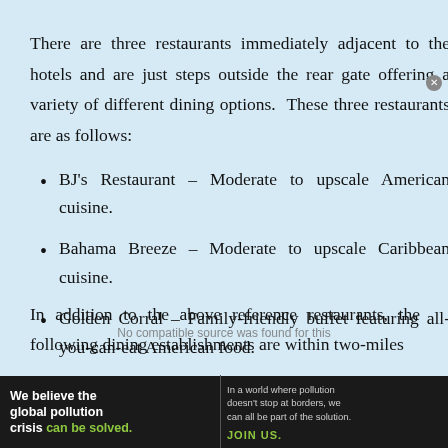There are three restaurants immediately adjacent to the hotels and are just steps outside the rear gate offering a variety of different dining options. These three restaurants are as follows:
BJ's Restaurant – Moderate to upscale American cuisine.
Bahama Breeze – Moderate to upscale Caribbean cuisine.
Golden Corral – Family-friendly buffet featuring all-you-can-eat American food.
In addition to the above reference restaurants, the following dining establishments are within two-miles
[Figure (infographic): Advertisement banner for Pure Earth: 'We believe the global pollution crisis can be solved.' with tagline about pollution crossing borders and JOIN US call to action, Pure Earth logo on right.]